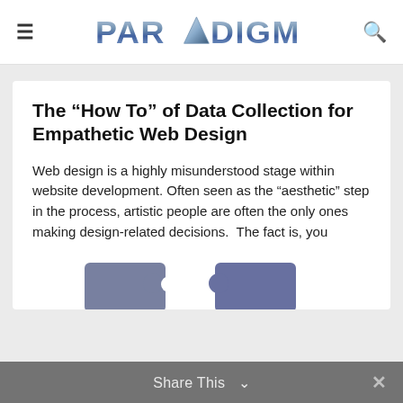≡  PARADIGM  🔍
The “How To” of Data Collection for Empathetic Web Design
Web design is a highly misunderstood stage within website development. Often seen as the “aesthetic” step in the process, artistic people are often the only ones making design-related decisions.  The fact is, you
[Figure (illustration): Partial view of puzzle pieces in dark blue/gray colors at the bottom of the article card]
Share This  ∨